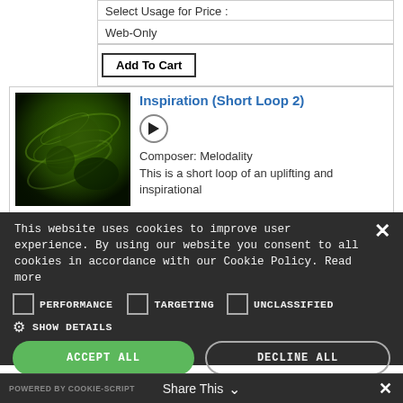Select Usage for Price :
Web-Only
Add To Cart
Inspiration (Short Loop 2)
[Figure (photo): Green fractal/abstract digital art thumbnail]
Composer: Melodality
This is a short loop of an uplifting and inspirational
This website uses cookies to improve user experience. By using our website you consent to all cookies in accordance with our Cookie Policy. Read more
PERFORMANCE
TARGETING
UNCLASSIFIED
SHOW DETAILS
ACCEPT ALL
DECLINE ALL
POWERED BY COOKIE-SCRIPT   Share This   ✕